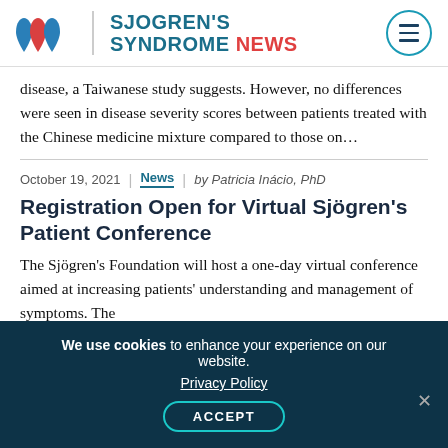[Figure (logo): Sjogren's Syndrome News logo with blue and red water drops, teal text reading SJOGREN'S SYNDROME NEWS with NEWS in red, and a hamburger menu icon in a teal circle]
disease, a Taiwanese study suggests. However, no differences were seen in disease severity scores between patients treated with the Chinese medicine mixture compared to those on...
October 19, 2021 | News | by Patricia Inácio, PhD
Registration Open for Virtual Sjögren's Patient Conference
The Sjögren's Foundation will host a one-day virtual conference aimed at increasing patients' understanding and management of symptoms. The
We use cookies to enhance your experience on our website. Privacy Policy ACCEPT